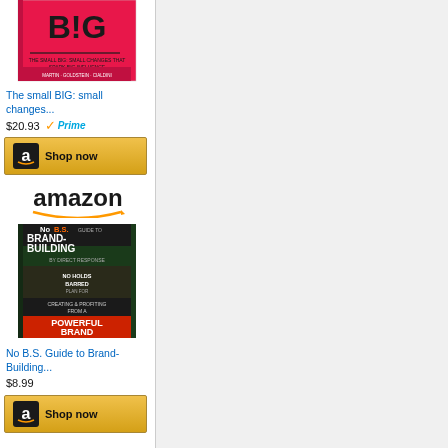[Figure (photo): Book cover for 'The small BIG: small changes...' with red and black design showing 'B!G' text]
The small BIG: small changes...
$20.93 ✓Prime
[Figure (logo): Amazon 'Shop now' button with gold background and Amazon 'a' icon]
[Figure (logo): Amazon logo with orange arrow]
[Figure (photo): Book cover for 'No B.S. Guide to Brand-Building...' with dark green and colorful design]
No B.S. Guide to Brand-Building...
$8.99
[Figure (logo): Amazon 'Shop now' button with gold background and Amazon 'a' icon]